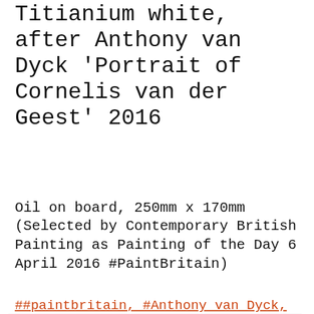Titianium white, after Anthony van Dyck 'Portrait of Cornelis van der Geest' 2016
Oil on board, 250mm x 170mm (Selected by Contemporary British Painting as Painting of the Day 6 April 2016 #PaintBritain)
##paintbritain, #Anthony van Dyck, #british art,
#contemporary art, #Jerome Crew, #oil painting
Privacy & Cookies: This site uses cookies. By continuing to use this website, you agree to their use. To find out more, including how to control cookies, see here: Cookie Policy
Close and accept